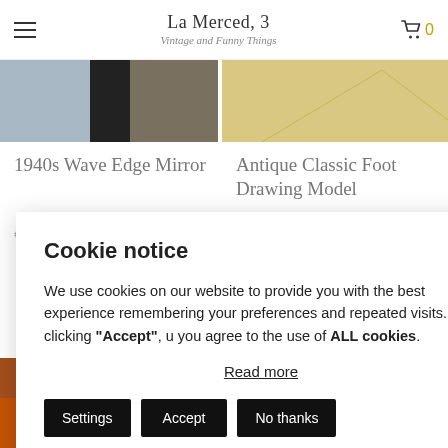La Merced, 3 — Vintage and Funny Things
[Figure (photo): Partial top view of 1940s Wave Edge Mirror product image — dark and grey tones]
[Figure (photo): Partial top view of Antique Classic Foot Drawing Model product image — beige/cream tones]
1940s Wave Edge Mirror
Antique Classic Foot Drawing Model
Cookie notice
We use cookies on our website to provide you with the best experience remembering your preferences and repeated visits. By clicking "Accept", u you agree to the use of ALL cookies.
Read more
Settings  Accept  No thanks